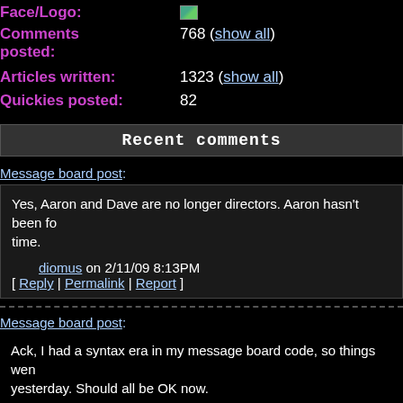Face/Logo: [image]
Comments posted: 768 (show all)
Articles written: 1323 (show all)
Quickies posted: 82
Recent comments
Message board post:
Yes, Aaron and Dave are no longer directors. Aaron hasn't been for some time.

diomus on 2/11/09 8:13PM
[ Reply | Permalink | Report ]
Message board post:
Ack, I had a syntax era in my message board code, so things went wrong yesterday. Should all be OK now.

diomus on 10/10/09 2:16AM